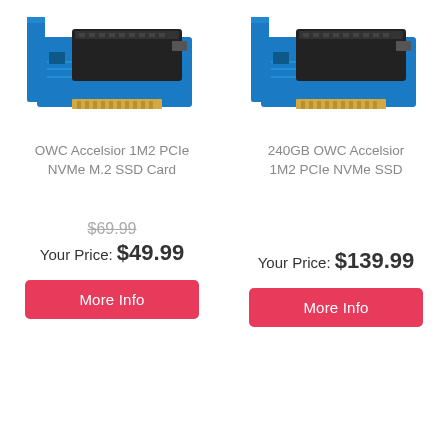[Figure (photo): OWC Accelsior 1M2 PCIe NVMe M.2 SSD Card — blue PCIe card with black M.2 module mounted on top]
[Figure (photo): 240GB OWC Accelsior 1M2 PCIe NVMe SSD — blue PCIe card with black M.2 module mounted on top]
OWC Accelsior 1M2 PCIe NVMe M.2 SSD Card
240GB OWC Accelsior 1M2 PCIe NVMe SSD
$69.99 (strikethrough original price)
Your Price: $49.99
Your Price: $139.99
More Info
More Info